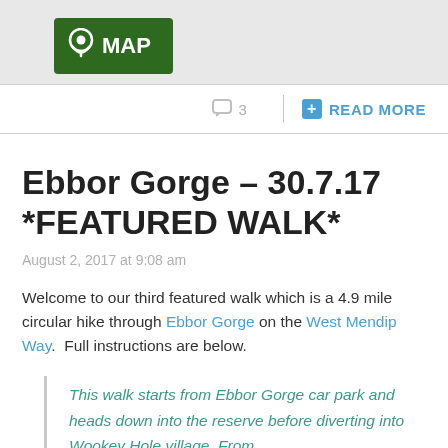[Figure (logo): Green rectangular MAP button with location pin icon]
3   READ MORE
Ebbor Gorge – 30.7.17 *FEATURED WALK*
August 2, 2017 at 9:08 am
Welcome to our third featured walk which is a 4.9 mile circular hike through Ebbor Gorge on the West Mendip Way.  Full instructions are below.
This walk starts from Ebbor Gorge car park and heads down into the reserve before diverting into Wookey Hole village. From